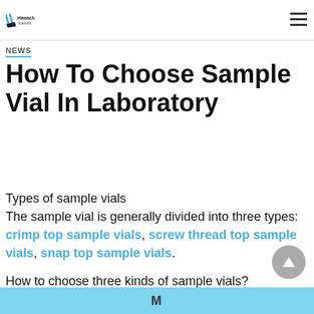Hawach Scientific
NEWS
How To Choose Sample Vial In Laboratory
Types of sample vials
The sample vial is generally divided into three types: crimp top sample vials, screw thread top sample vials, snap top sample vials.
How to choose three kinds of sample vials?
M